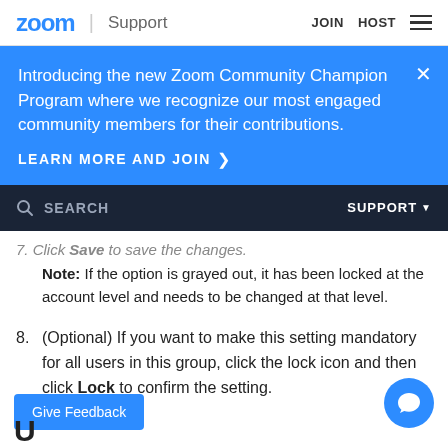zoom | Support   JOIN   HOST
Introducing the new Zoom Community Champion Program where we recognize our most engaged community members for their contributions.
LEARN MORE AND JOIN >
SEARCH   SUPPORT
7. Click Save to save the changes. Note: If the option is grayed out, it has been locked at the account level and needs to be changed at that level.
8. (Optional) If you want to make this setting mandatory for all users in this group, click the lock icon and then click Lock to confirm the setting.
Give Feedback